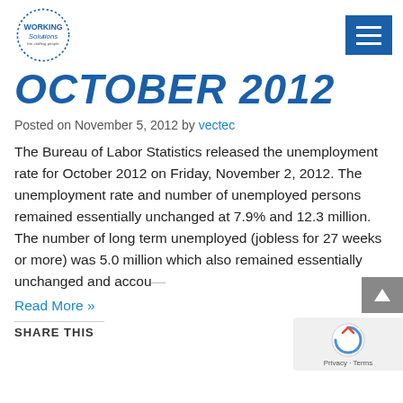Working Solutions - the staffing people
OCTOBER 2012
Posted on November 5, 2012 by vectec
The Bureau of Labor Statistics released the unemployment rate for October 2012 on Friday, November 2, 2012. The unemployment rate and number of unemployed persons remained essentially unchanged at 7.9% and 12.3 million. The number of long term unemployed (jobless for 27 weeks or more) was 5.0 million which also remained essentially unchanged and accou...
Read More »
SHARE THIS